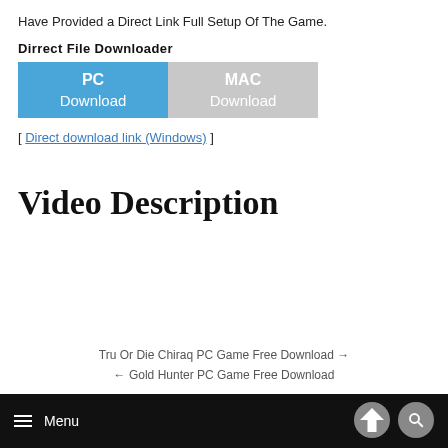Have Provided a Direct Link Full Setup Of The Game.
Dirrect File Downloader
[Figure (other): Two download buttons side by side: blue 'PC Download' button on the left and gray 'MAC Download' button on the right.]
[ Direct download link (Windows) ]
Video Description
Tru Or Die Chiraq PC Game Free Download →
← Gold Hunter PC Game Free Download
Menu